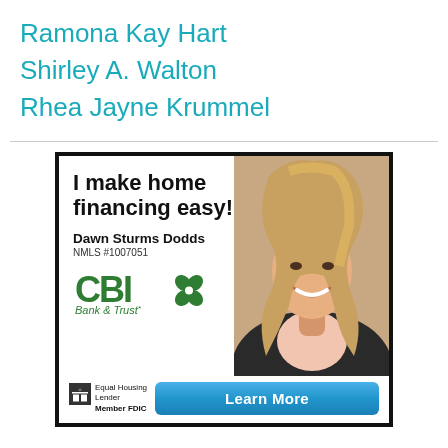Ramona Kay Hart
Shirley A. Walton
Rhea Jayne Krummel
[Figure (illustration): CBI Bank & Trust advertisement featuring Dawn Sturms Dodds, NMLS #1007051, with headline 'I make home financing easy!', CBI Bank & Trust logo, Equal Housing Lender, Member FDIC, and a Learn More button. Photo of a smiling blonde woman in a blazer.]